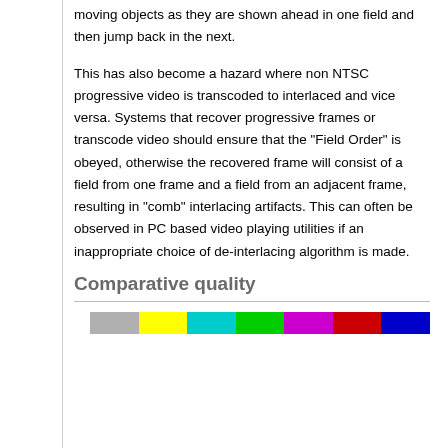moving objects as they are shown ahead in one field and then jump back in the next.
This has also become a hazard where non NTSC progressive video is transcoded to interlaced and vice versa. Systems that recover progressive frames or transcode video should ensure that the "Field Order" is obeyed, otherwise the recovered frame will consist of a field from one frame and a field from an adjacent frame, resulting in "comb" interlacing artifacts. This can often be observed in PC based video playing utilities if an inappropriate choice of de-interlacing algorithm is made.
Comparative quality
[Figure (other): Color bar test pattern showing segments of grey, yellow, cyan, green, magenta, red, and blue colors.]